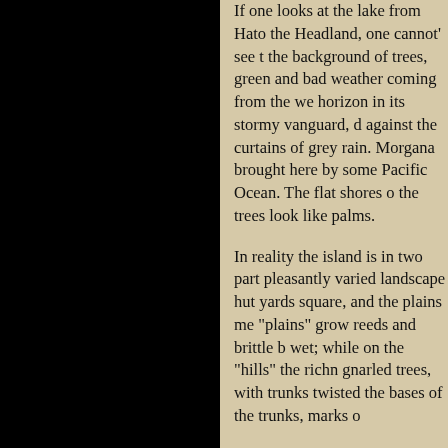If one looks at the lake from Hato the Headland, one cannot' see the background of trees, green and bad weather coming from the we horizon in its stormy vanguard, d against the curtains of grey rain. Morgana brought here by some Pacific Ocean. The flat shores o the trees look like palms.
In reality the island is in two part pleasantly varied landscape hut yards square, and the plains me "plains" grow reeds and brittle b wet; while on the "hills" the richn gnarled trees, with trunks twisted the bases of the trunks, marks o
The island has seen other attack Great War, during which it was t blockhouse. To this day there are "unterstands" and "observationp "fuchslochs," where once Germa while lying side by side under wi beautiful meadows of Bavaria, w